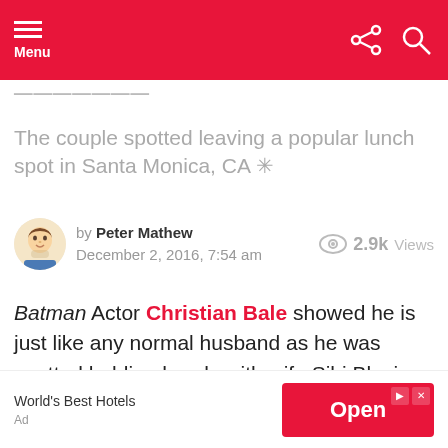Menu
The couple spotted leaving a popular lunch spot in Santa Monica, CA ✳
by Peter Mathew December 2, 2016, 7:54 am  2.9k Views
Batman Actor Christian Bale showed he is just like any normal husband as he was spotted holding hands with wife Sibi Blazic after leaving a popular lunch spot in Santa Monica.
World's Best Hotels
Ad
Open